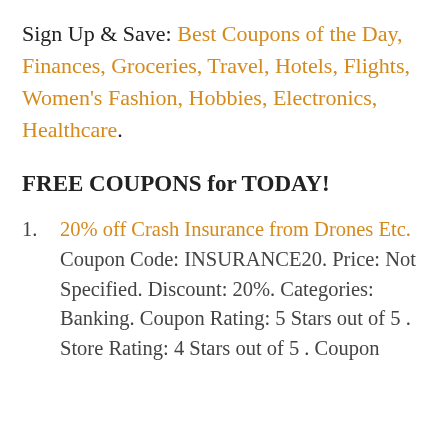Sign Up & Save: Best Coupons of the Day, Finances, Groceries, Travel, Hotels, Flights, Women's Fashion, Hobbies, Electronics, Healthcare.
FREE COUPONS for TODAY!
20% off Crash Insurance from Drones Etc. Coupon Code: INSURANCE20. Price: Not Specified. Discount: 20%. Categories: Banking. Coupon Rating: 5 Stars out of 5 . Store Rating: 4 Stars out of 5 . Coupon